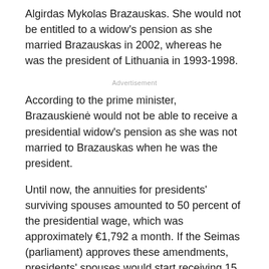Algirdas Mykolas Brazauskas. She would not be entitled to a widow's pension as she married Brazauskas in 2002, whereas he was the president of Lithuania in 1993-1998.
Advertisement
According to the prime minister, Brazauskienė would not be able to receive a presidential widow's pension as she was not married to Brazauskas when he was the president.
Until now, the annuities for presidents' surviving spouses amounted to 50 percent of the presidential wage, which was approximately €1,792 a month. If the Seimas (parliament) approves these amendments, presidents' spouses would start receiving 15 percent of the presidential salary on 1 April 2016.